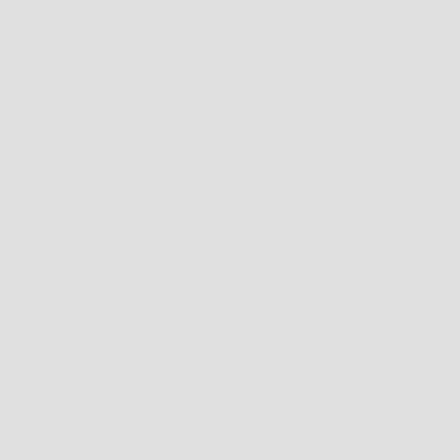LEVEL Financing
Level Financing offers debt solutions to lower payments and eliminate debt, regain the balanced, life you deserve. Level Financing settlement and debt management help people to be financially independent. Level Financing, proven, ethical debt solutions, credit card payments, helping you regain the life you deserve. Level Financing settlement and debt management help people to be financially independent.
Nationwide US Re
No Joke Marketing
No Joke Marketing is for your every marketing needs. Hundreds of businesses focused on driving results. Find out how the No Joke drive quick results for most of your follow up aspects of your business working on. No Joke marketing partner for...